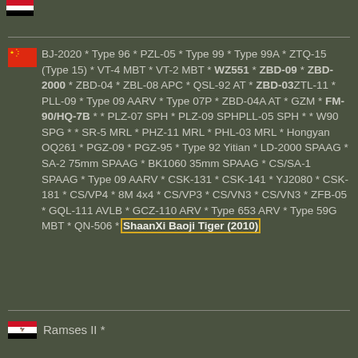[Figure (illustration): Egyptian flag (partial, top of page)]
🇨🇳 BJ-2020 * Type 96 * PZL-05 * Type 99 * Type 99A * ZTQ-15 (Type 15) * VT-4 MBT * VT-2 MBT * WZ551 * ZBD-09 * ZBD-2000 * ZBD-04 * ZBL-08 APC * QSL-92 AT * ZBD-03 ZTL-11 * PLL-09 * Type 09 AARV * Type 07P * ZBD-04A AT * GZM * FM-90/HQ-7B * * PLZ-07 SPH * PLZ-09 SPH PLL-05 SPH * * W90 SPG * * SR-5 MRL * PHZ-11 MRL * PHL-03 MRL * Hongyan OQ261 * PGZ-09 * PGZ-95 * Type 92 Yitian * LD-2000 SPAAG * SA-2 75mm SPAAG * BK1060 35mm SPAAG * CS/SA-1 SPAAG * Type 09 AARV * CSK-131 * CSK-141 * YJ2080 * CSK-181 * CS/VP4 * 8M 4x4 * CS/VP3 * CS/VN3 * CS/VN3 * ZFB-05 * GQL-111 AVLB * GCZ-110 ARV * Type 653 ARV * Type 59G MBT * QN-506 * ShaanXi Baoji Tiger (2010)
🇪🇬 Ramses II *